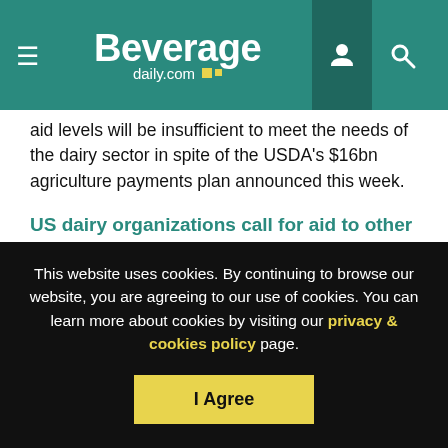Beverage daily.com
aid levels will be insufficient to meet the needs of the dairy sector in spite of the USDA's $16bn agriculture payments plan announced this week.
US dairy organizations call for aid to other nations affected by coronavirus
The IDFA, the NMPF and USDEC have urged Agriculture Secretary Sonny Perdue to use all tools at his disposal to send US dairy products to neighboring nations struggling with the
This website uses cookies. By continuing to browse our website, you are agreeing to our use of cookies. You can learn more about cookies by visiting our privacy & cookies policy page.